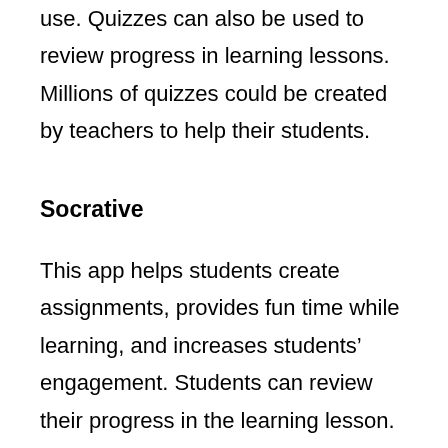use. Quizzes can also be used to review progress in learning lessons. Millions of quizzes could be created by teachers to help their students.
Socrative
This app helps students create assignments, provides fun time while learning, and increases students' engagement. Students can review their progress in the learning lesson. The improvement is evaluated based on